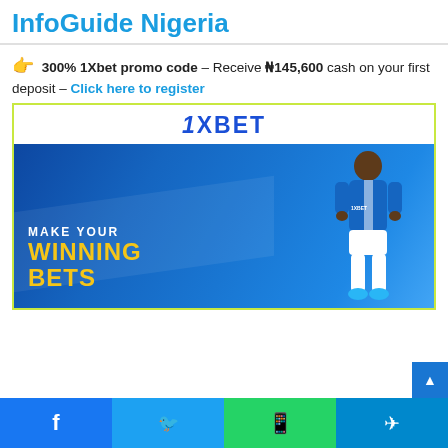InfoGuide Nigeria
👉 300% 1Xbet promo code – Receive ₦145,600 cash on your first deposit – Click here to register
[Figure (illustration): 1XBET advertisement banner showing the 1XBET logo at top and a soccer player in blue jersey with text 'MAKE YOUR WINNING BETS' on a blue gradient background]
Facebook | Twitter | WhatsApp | Telegram social share buttons